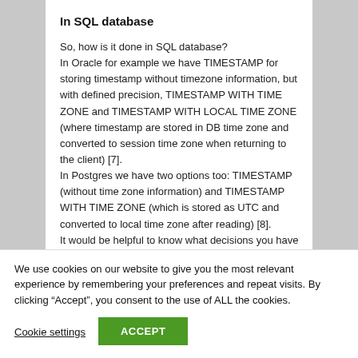In SQL database
So, how is it done in SQL database?
In Oracle for example we have TIMESTAMP for storing timestamp without timezone information, but with defined precision, TIMESTAMP WITH TIME ZONE and TIMESTAMP WITH LOCAL TIME ZONE (where timestamp are stored in DB time zone and converted to session time zone when returning to the client) [7].
In Postgres we have two options too: TIMESTAMP (without time zone information) and TIMESTAMP WITH TIME ZONE (which is stored as UTC and converted to local time zone after reading) [8].
We use cookies on our website to give you the most relevant experience by remembering your preferences and repeat visits. By clicking “Accept”, you consent to the use of ALL the cookies.
Cookie settings
ACCEPT